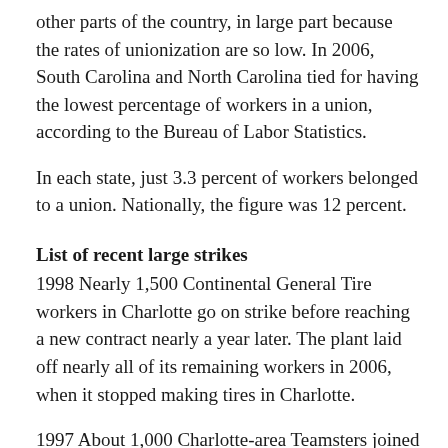other parts of the country, in large part because the rates of unionization are so low. In 2006, South Carolina and North Carolina tied for having the lowest percentage of workers in a union, according to the Bureau of Labor Statistics.
In each state, just 3.3 percent of workers belonged to a union. Nationally, the figure was 12 percent.
List of recent large strikes
1998 Nearly 1,500 Continental General Tire workers in Charlotte go on strike before reaching a new contract nearly a year later. The plant laid off nearly all of its remaining workers in 2006, when it stopped making tires in Charlotte.
1997 About 1,000 Charlotte-area Teamsters joined a 16-